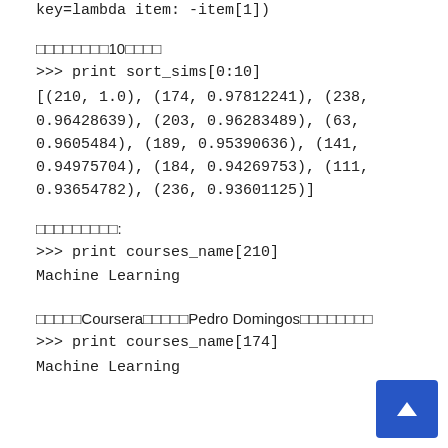key=lambda item: -item[1])
前10件を表示するには
>>> print sort_sims[0:10]
[(210, 1.0), (174, 0.97812241), (238, 0.96428639), (203, 0.96283489), (63, 0.9605484), (189, 0.95390636), (141, 0.94975704), (184, 0.94269753), (111, 0.93654782), (236, 0.93601125)]
コース名を確認:
>>> print courses_name[210]
Machine Learning
これはCourseraにあるPedro Domingosのコースです
>>> print courses_name[174]
Machine Learning